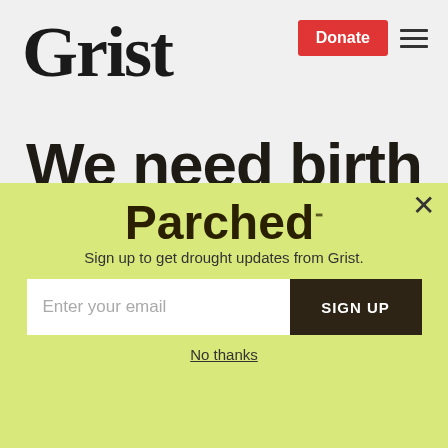Grist
We need birth control, not
[Figure (screenshot): Parched newsletter signup popup overlay with email input and Sign Up button on a yellow-green background]
Sign up to get drought updates from Grist.
Enter your email
SIGN UP
No thanks